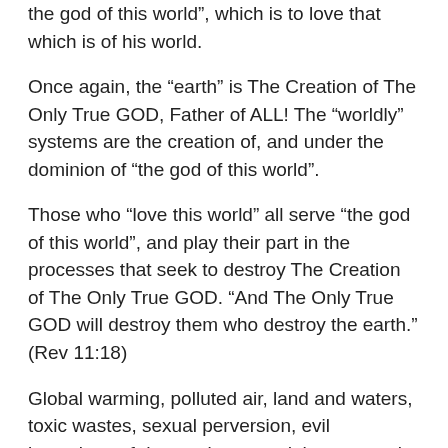the god of this world”, which is to love that which is of his world.
Once again, the “earth” is The Creation of The Only True GOD, Father of ALL! The “worldly” systems are the creation of, and under the dominion of “the god of this world”.
Those who “love this world” all serve “the god of this world”, and play their part in the processes that seek to destroy The Creation of The Only True GOD. “And The Only True GOD will destroy them who destroy the earth.” (Rev 11:18)
Global warming, polluted air, land and waters, toxic wastes, sexual perversion, evil inventions of destruction, greed, hate, carnal warfare, dis-ease ,,,etc,,, are all destructive processes that